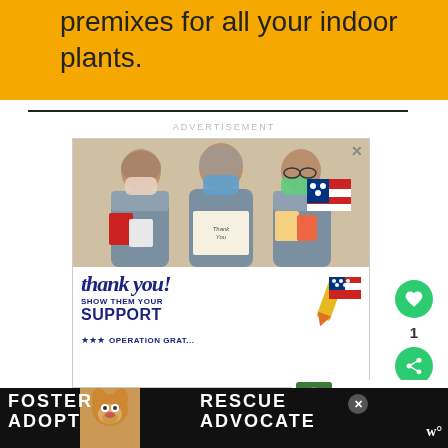premixes for all your indoor plants.
ADVERTISEMENT
[Figure (photo): Advertisement showing three nurses/healthcare workers in scrubs and masks holding thank-you cards, with 'thank you! SHOW THEM YOUR SUPPORT OPERATION GRATITUDE' text below]
[Figure (photo): Bottom banner advertisement: FOSTER ADOPT RESCUE ADVOCATE with a beagle dog image]
WHAT'S NEXT → Philodendron Leaves...
1